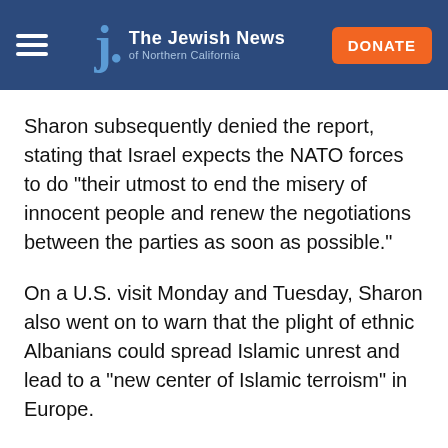The Jewish News of Northern California
Sharon subsequently denied the report, stating that Israel expects the NATO forces to do "their utmost to end the misery of innocent people and renew the negotiations between the parties as soon as possible."
On a U.S. visit Monday and Tuesday, Sharon also went on to warn that the plight of ethnic Albanians could spread Islamic unrest and lead to a "new center of Islamic terroism" in Europe.
"The free world must look forward and see dangers in the future if a large bloc of Islamic